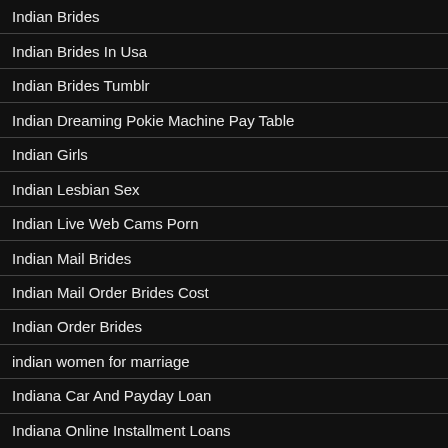Indian Brides
Indian Brides In Usa
Indian Brides Tumblr
Indian Dreaming Pokie Machine Pay Table
Indian Girls
Indian Lesbian Sex
Indian Live Web Cams Porn
Indian Mail Brides
Indian Mail Order Brides Cost
Indian Order Brides
indian women for marriage
Indiana Car And Payday Loan
Indiana Online Installment Loans